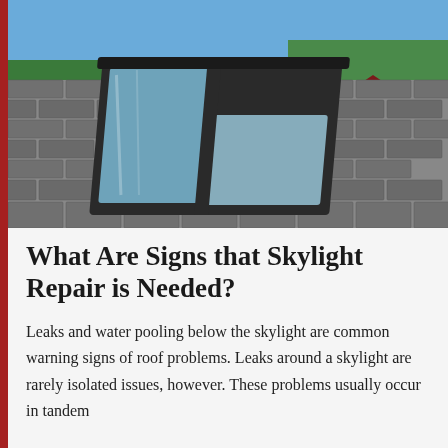[Figure (photo): A photograph of a roof with gray asphalt shingles featuring an open skylight window with a dark frame, viewed from an angle. Green trees and a red house are visible in the background under a blue sky.]
What Are Signs that Skylight Repair is Needed?
Leaks and water pooling below the skylight are common warning signs of roof problems. Leaks around a skylight are rarely isolated issues, however. These problems usually occur in tandem with other roofing issues. The only way to properly address these problems is...